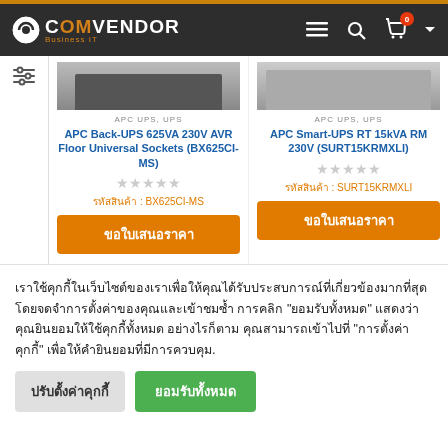ComVendor Business IT - Navigation bar
[Figure (screenshot): Product listing with two APC UPS products]
APC UPS, UPS
APC Back-UPS 625VA 230V AVR Floor Universal Sockets (BX625CI-MS)
รหัสสินค้า : BX625CI-MS
ขอใบเสนอราคา
APC UPS, UPS
APC Smart-UPS RT 15kVA RM 230V (SURT15KRMXLI)
รหัสสินค้า : SURT15KRMXLI
ขอใบเสนอราคา
เราใช้คุกกี้ในเว็บไซต์ของเราเพื่อให้คุณได้รับประสบการณ์ที่เกี่ยวข้องมากที่สุดโดยจดจำการตั้งค่าของคุณและเข้าชมซ้ำ การคลิก "ยอมรับทั้งหมด" แสดงว่าคุณยินยอมให้ใช้คุกกี้ทั้งหมด อย่างไรก็ตาม คุณสามารถเข้าไปที่ "การตั้งค่าคุกกี้" เพื่อให้คำยินยอมที่มีการควบคุม.
ปรับตั้งค่าคุกกี้
ยอมรับทั้งหมด